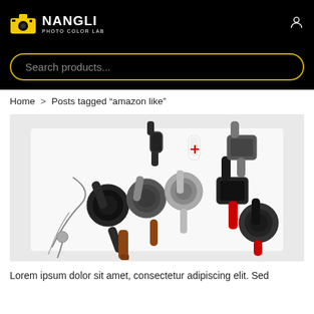NANGLI PHOTO COLOR LAB
Search products...
Home > Posts tagged "amazon like"
[Figure (photo): A collection of various smartwatches and fitness trackers piled together on a white background, including round, square, and rectangular watches with black, brown, and red bands.]
Lorem ipsum dolor sit amet, consectetur adipiscing elit. Sed